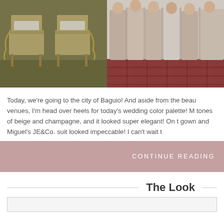[Figure (photo): Two side-by-side wedding photos: left shows outdoor ceremony chairs with fabric and bows on grass; right shows bridesmaids in champagne/beige gowns standing together on red tile floor.]
Today, we're going to the city of Baguio! And aside from the beau venues, I'm head over heels for today's wedding color palette! M tones of beige and champagne, and it looked super elegant! On t gown and Miguel's JE&Co. suit looked impeccable! I can't wait t
CONTINUE READING
The Look